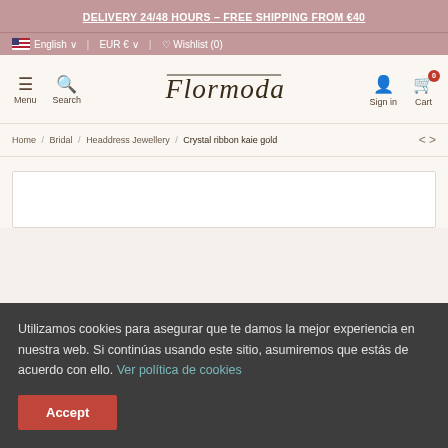DELIVERY 24/48 HOURS – FREE SHIPPING FROM €40
English · EUR € · Wishlist (0)
Menu · Search · Flormoda · Sign in · Cart
Home / Bridal / Headdress Jewellery / Crystal ribbon kaie gold
Utilizamos cookies para asegurar que te damos la mejor experiencia en nuestra web. Si continúas usando este sitio, asumiremos que estás de acuerdo con ello. Ver política de cookies
Accept